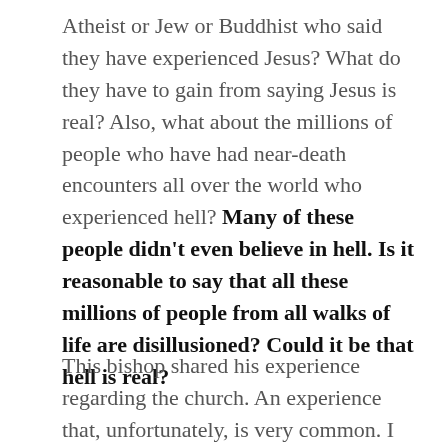Atheist or Jew or Buddhist who said they have experienced Jesus? What do they have to gain from saying Jesus is real? Also, what about the millions of people who have had near-death encounters all over the world who experienced hell? Many of these people didn't even believe in hell. Is it reasonable to say that all these millions of people from all walks of life are disillusioned? Could it be that hell is real?
This bishop shared his experience regarding the church. An experience that, unfortunately, is very common. I wanted to hear him talk more about God since he is a